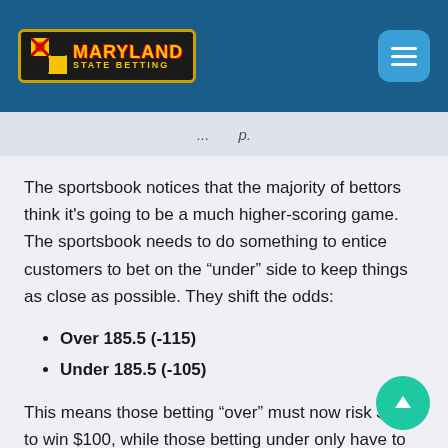[Figure (logo): Maryland State Betting logo with state flag icon on dark background with gold border]
...
The sportsbook notices that the majority of bettors think it's going to be a much higher-scoring game. The sportsbook needs to do something to entice customers to bet on the “under” side to keep things as close as possible. They shift the odds:
Over 185.5 (-115)
Under 185.5 (-105)
This means those betting “over” must now risk $115 to win $100, while those betting under only have to risk $105 to win $100.